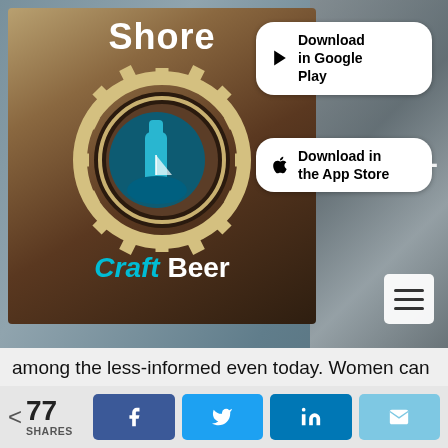[Figure (screenshot): Shore Craft Beer app logo with gear/bottle design, Download in Google Play and Download in the App Store buttons, hamburger menu icon, dark background]
among the less-informed even today. Women can be astronauts but not beer drinkers.
As Wolcott has seen, though, with the rise of the celebrity chef and more popular access to the culinary world people are coming around on craft beer as an accompaniment as well as as an ingredient.
"People want to know who makes what they are eating and drinking," Wolcott said. "But it's entertainment too, It's not only about eating and drinking."
When she came to Goose Island her mission was to teach
< 77 SHARES  [Facebook] [Twitter] [LinkedIn] [Email]